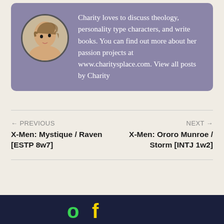Charity loves to discuss theology, personality type characters, and write books. You can find out more about her passion projects at www.charitysplace.com. View all posts by Charity
← PREVIOUS
X-Men: Mystique / Raven [ESTP 8w7]
NEXT →
X-Men: Ororo Munroe / Storm [INTJ 1w2]
[Figure (other): Dark navy blue banner section at bottom of page with partial yellow/green text visible, appears to be a website footer or advertisement banner]